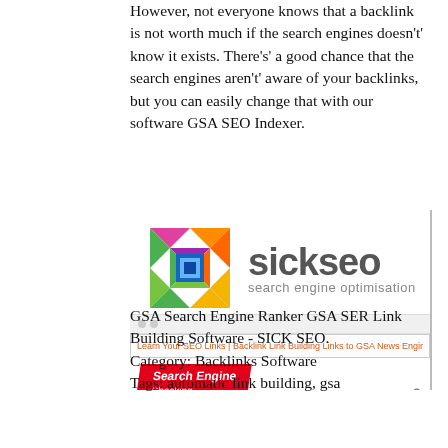However, not everyone knows that a backlink is not worth much if the search engines doesn't' know it exists. There's' a good chance that the search engines aren't' aware of your backlinks, but you can easily change that with our software GSA SEO Indexer.
[Figure (screenshot): Screenshot of the 'sickseo' website showing the logo with colorful geometric icon, brand name 'sickseo', tagline 'search engine optimisation', navigation bar, URL bar, and a 'Search Engine' red banner at the bottom.]
GSA Search Engine Ranker GSA SER Link Building Software - SICK SEO.
Category: Backlinks Software
Tags: automatic link building, gsa